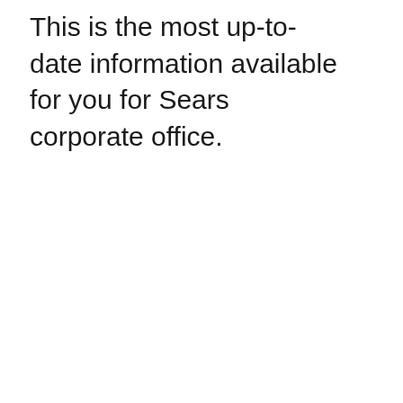This is the most up-to-date information available for you for Sears corporate office.